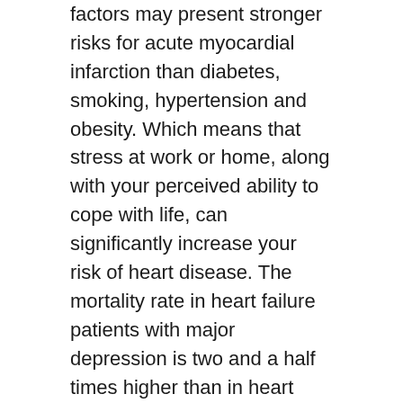factors may present stronger risks for acute myocardial infarction than diabetes, smoking, hypertension and obesity. Which means that stress at work or home, along with your perceived ability to cope with life, can significantly increase your risk of heart disease. The mortality rate in heart failure patients with major depression is two and a half times higher than in heart patients without depression.
Yet, depression in heart failure patients often goes undiagnosed. This is partly because of the overlap in the symptoms of the two conditions (among them: fatigue, loss of energy, poor appetite, and sleep disturbance) and partly because many patients see depression as a character weakness or personality flaw, when it's really a common